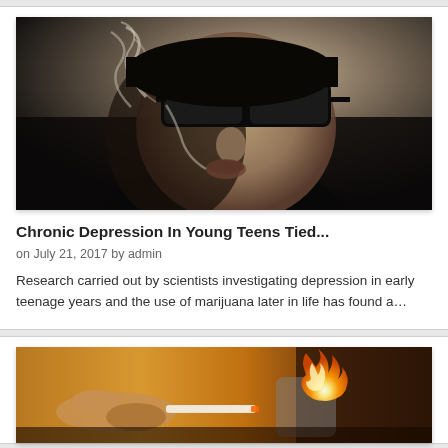[Figure (photo): Black and white stylized photo of a young person wearing dark sunglasses, exhaling smoke from their mouth. The image has a sepia/vintage tone with dramatic shadows.]
Chronic Depression In Young Teens Tied...
on July 21, 2017 by admin
Research carried out by scientists investigating depression in early teenage years and the use of marijuana later in life has found a…
[Figure (photo): Close-up photo of a hand holding a marijuana cigarette being lit by a lighter flame. Warm yellow and orange tones with a dark background.]